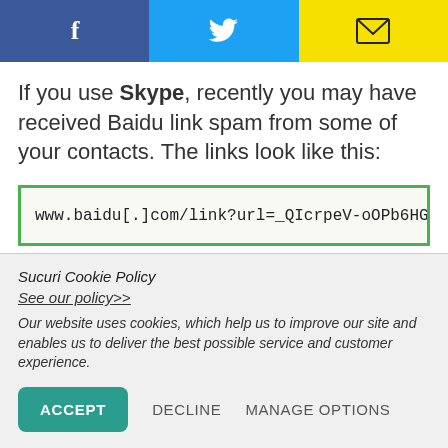[Figure (other): Social sharing buttons bar with Facebook (blue), Twitter (blue bird), and Email (yellow envelope) icons]
If you use Skype, recently you may have received Baidu link spam from some of your contacts. The links look like this:
www.baidu[.]com/link?url=_QIcrpeV-oOPb6HGTgigv
When you click these links you end up on fake news
Sucuri Cookie Policy
See our policy>>
Our website uses cookies, which help us to improve our site and enables us to deliver the best possible service and customer experience.